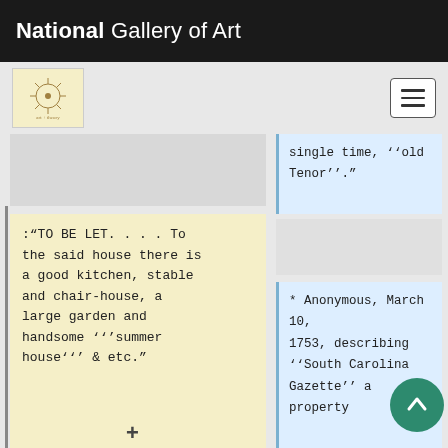National Gallery of Art
[Figure (logo): NGA logo - circular sunburst/asterisk design on cream background]
single time, ''old Tenor''."
:"TO BE LET. . . . To the said house there is a good kitchen, stable and chair-house, a large garden and handsome '''summer house''' & etc."
* Anonymous, March 10, 1753, describing ''South Carolina Gazette'' a property